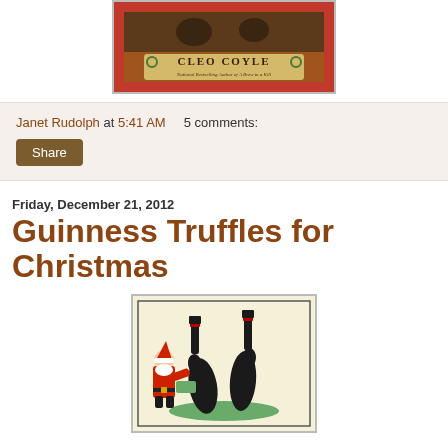[Figure (photo): Top portion of a book cover by Cleo Coyle, National Bestselling Author of A Brew to a Kill, with decorative border]
Janet Rudolph at 5:41 AM   5 comments:
Share
Friday, December 21, 2012
Guinness Truffles for Christmas
[Figure (illustration): Vintage Guinness advertisement illustration showing Santa Claus with sea lions/seals balancing Guinness bottles, on a cream/beige background with green tray]